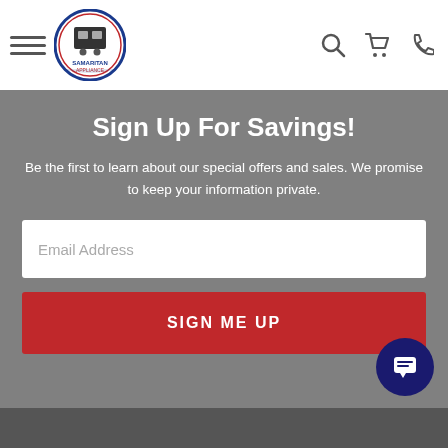[Figure (logo): Samaritan Appliance logo — circular badge with appliance icons and text]
Sign Up For Savings!
Be the first to learn about our special offers and sales. We promise to keep your information private.
Email Address
SIGN ME UP